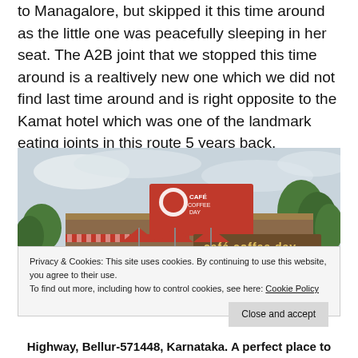to Managalore, but skipped it this time around as the little one was peacefully sleeping in her seat. The A2B joint that we stopped this time around is a realtively new one which we did not find last time around and is right opposite to the Kamat hotel which was one of the landmark eating joints in this route 5 years back.
[Figure (photo): Exterior photo of a Café Coffee Day outlet with red signage and red umbrellas, surrounded by trees, with cars parked in front. Location appears to be a highway stop.]
Privacy & Cookies: This site uses cookies. By continuing to use this website, you agree to their use.
To find out more, including how to control cookies, see here: Cookie Policy
Close and accept
Highway, Bellur-571448, Karnataka. A perfect place to